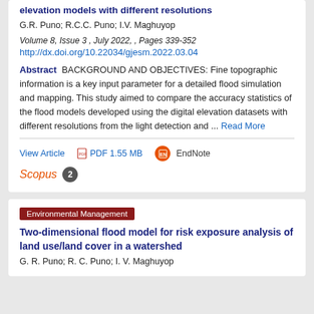elevation models with different resolutions
G.R. Puno; R.C.C. Puno; I.V. Maghuyop
Volume 8, Issue 3 , July 2022, , Pages 339-352
http://dx.doi.org/10.22034/gjesm.2022.03.04
Abstract  BACKGROUND AND OBJECTIVES: Fine topographic information is a key input parameter for a detailed flood simulation and mapping. This study aimed to compare the accuracy statistics of the flood models developed using the digital elevation datasets with different resolutions from the light detection and ... Read More
View Article   PDF 1.55 MB   EndNote   Scopus 2
Environmental Management
Two-dimensional flood model for risk exposure analysis of land use/land cover in a watershed
G. R. Puno; R. C. Puno; I. V. Maghuyop